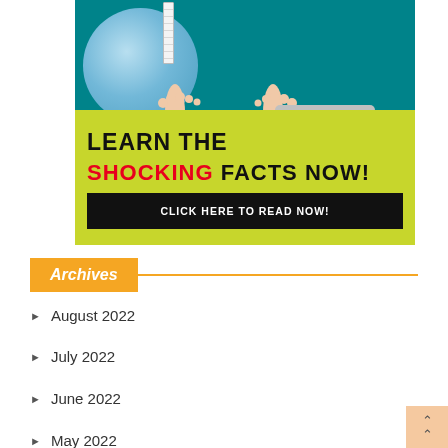[Figure (illustration): Advertisement banner showing a person's bare feet on a weight scale, sitting on a blue exercise ball with a tape measure, on a teal background. Yellow-green box overlay reads 'LEARN THE SHOCKING FACTS NOW!' with a black button 'CLICK HERE TO READ NOW!']
Archives
August 2022
July 2022
June 2022
May 2022 (partially visible, cut off)